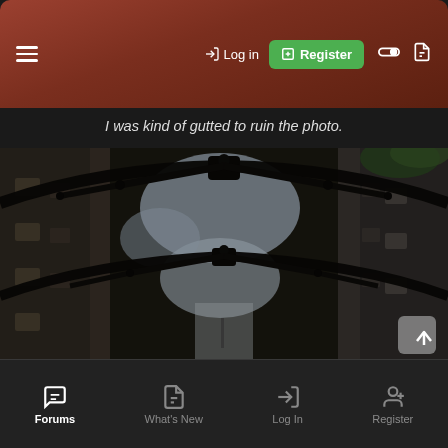≡   → Log in   [+] Register   ● ❑
I was kind of gutted to ruin the photo.
[Figure (photo): Upward-looking photo through a narrow alley between old stone buildings, showing ornate wrought-iron arches/brackets spanning the alley, with cloudy sky and green foliage visible above, taken in what appears to be Barcelona's Gothic Quarter.]
Forums   What's New   Log In   Register